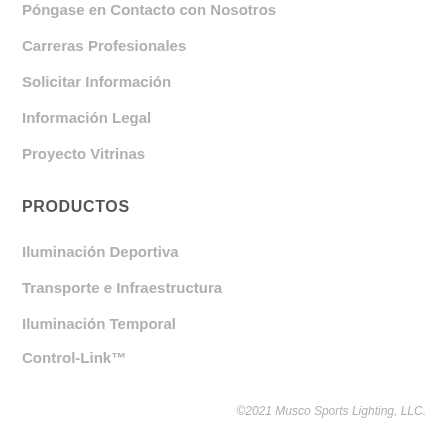Póngase en Contacto con Nosotros
Carreras Profesionales
Solicitar Información
Información Legal
Proyecto Vitrinas
PRODUCTOS
Iluminación Deportiva
Transporte e Infraestructura
Iluminación Temporal
Control-Link™
©2021 Musco Sports Lighting, LLC.